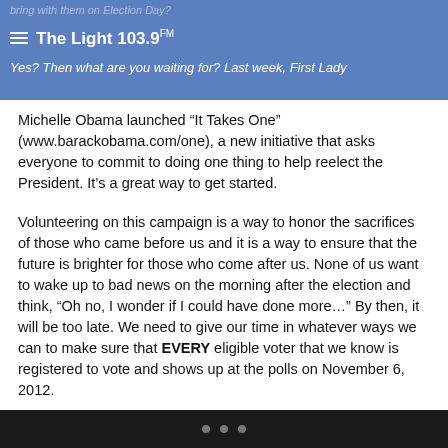bring with them on Election Day?
The Light 103.9FM
Yes? Then what are you waiting for? Last week, First Lady
Michelle Obama launched “It Takes One” (www.barackobama.com/one), a new initiative that asks everyone to commit to doing one thing to help reelect the President. It’s a great way to get started.
Volunteering on this campaign is a way to honor the sacrifices of those who came before us and it is a way to ensure that the future is brighter for those who come after us. None of us want to wake up to bad news on the morning after the election and think, “Oh no, I wonder if I could have done more…” By then, it will be too late. We need to give our time in whatever ways we can to make sure that EVERY eligible voter that we know is registered to vote and shows up at the polls on November 6, 2012.